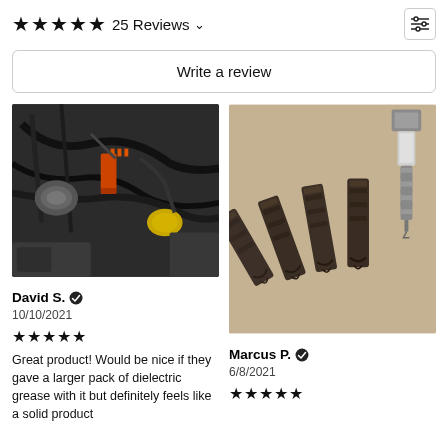★★★★★ 25 Reviews ∨
Write a review
[Figure (photo): Car engine bay photo showing orange fuel injectors, wiring harness, alternator, and various engine components]
David S. ✓
10/10/2021
★★★★★
Great product! Would be nice if they gave a larger pack of dielectric grease with it but definitely feels like a solid product
[Figure (photo): Close-up photo of multiple old worn spark plugs laid out with threaded ends visible, one upright spark plug in the background]
Marcus P. ✓
6/8/2021
★★★★★